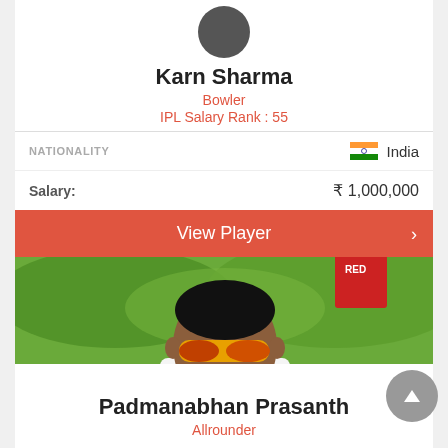[Figure (photo): Profile avatar circle for Karn Sharma (dark gray circle)]
Karn Sharma
Bowler
IPL Salary Rank : 55
|  |  |
| --- | --- |
| NATIONALITY | India |
| Salary: | ₹ 1,000,000 |
View Player
[Figure (photo): Photo of Padmanabhan Prasanth, a cricket player wearing yellow sunglasses, standing outdoors on a cricket ground, with badge number 473]
Padmanabhan Prasanth
Allrounder